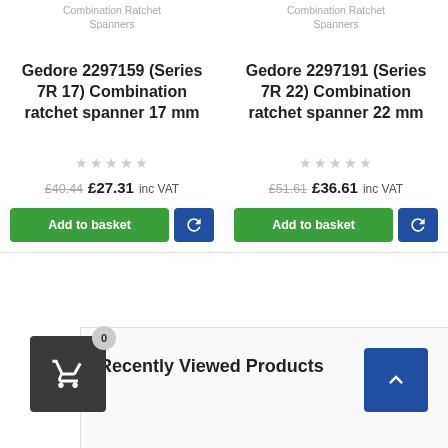Combination Ratchet Spanners
Combination Ratchet Spanners
Gedore 2297159 (Series 7R 17) Combination ratchet spanner 17 mm
Gedore 2297191 (Series 7R 22) Combination ratchet spanner 22 mm
£40.44 £27.31 inc VAT
£51.61 £36.61 inc VAT
Add to basket
Add to basket
Recently Viewed Products